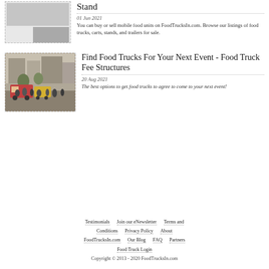[Figure (screenshot): Article card with dashed border showing two small photos and tiny article text about a coffee stand]
Stand
01 Jun 2021
You can buy or sell mobile food units on FoodTrucksIn.com.  Browse our listings of food trucks, carts, stands, and trailers for sale.
[Figure (photo): Street scene with red food truck and crowd of people in front of city buildings]
Find Food Trucks For Your Next Event - Food Truck Fee Structures
20 Aug 2021
The best options to get food trucks to agree to come to your next event!
Testimonials   Join our eNewsletter   Terms and Conditions   Privacy Policy   About   FoodTrucksIn.com   Our Blog   FAQ   Partners   Food Truck Login   Copyright © 2013 - 2020 FoodTrucksIn.com